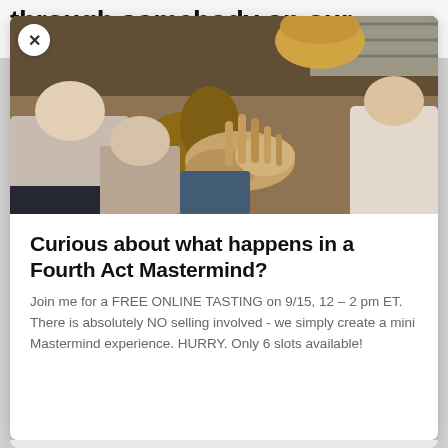through somebody on our board, which is another project that works,
[Figure (photo): Group of people sitting in a circle, hands gesturing, appearing to be in a discussion or mastermind group meeting]
Curious about what happens in a Fourth Act Mastermind?
Join me for a FREE ONLINE TASTING on 9/15, 12 – 2 pm ET. There is absolutely NO selling involved - we simply create a mini Mastermind experience. HURRY. Only 6 slots available!